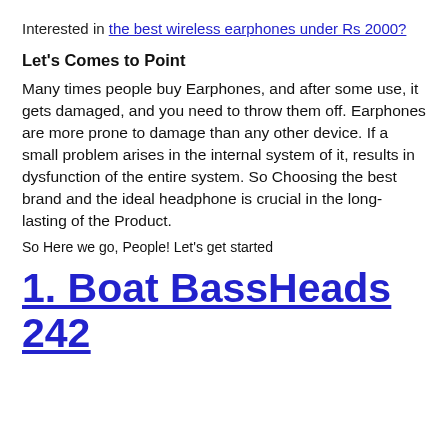Interested in the best wireless earphones under Rs 2000?
Let's Comes to Point
Many times people buy Earphones, and after some use, it gets damaged, and you need to throw them off. Earphones are more prone to damage than any other device. If a small problem arises in the internal system of it, results in dysfunction of the entire system. So Choosing the best brand and the ideal headphone is crucial in the long-lasting of the Product.
So Here we go, People! Let's get started
1. Boat BassHeads 242